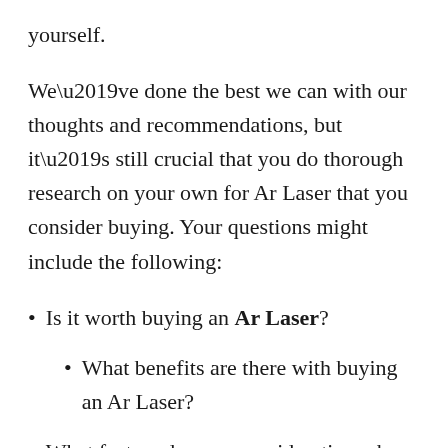yourself.
We’ve done the best we can with our thoughts and recommendations, but it’s still crucial that you do thorough research on your own for Ar Laser that you consider buying. Your questions might include the following:
Is it worth buying an Ar Laser?
What benefits are there with buying an Ar Laser?
What factors deserve consideration when